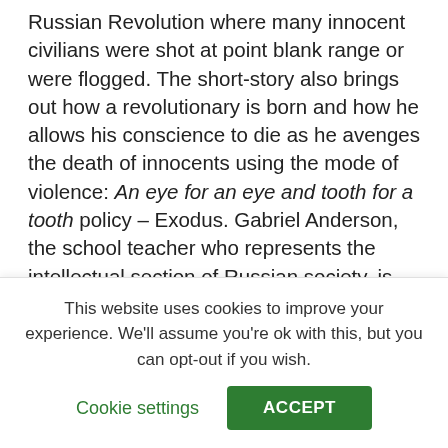Russian Revolution where many innocent civilians were shot at point blank range or were flogged. The short-story also brings out how a revolutionary is born and how he allows his conscience to die as he avenges the death of innocents using the mode of violence: An eye for an eye and tooth for a tooth policy – Exodus. Gabriel Anderson, the school teacher who represents the intellectual section of Russian society, is moved to become a revolutionary as he witnesses his innocent countrymen's deaths and floggings, which ultimately led to his own terrible and painful death. 'The Revolutionist' is an indictment of how dictators and people in power treat those who try and fight for their rights.
This website uses cookies to improve your experience. We'll assume you're ok with this, but you can opt-out if you wish.